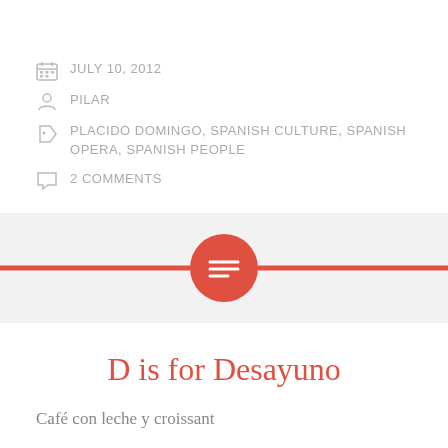JULY 10, 2012
PILAR
PLACIDO DOMINGO, SPANISH CULTURE, SPANISH OPERA, SPANISH PEOPLE
2 COMMENTS
[Figure (infographic): Red horizontal divider bar with red circle icon containing a text/lines symbol in the center, on a light gray background]
D is for Desayuno
Café con leche y croissant